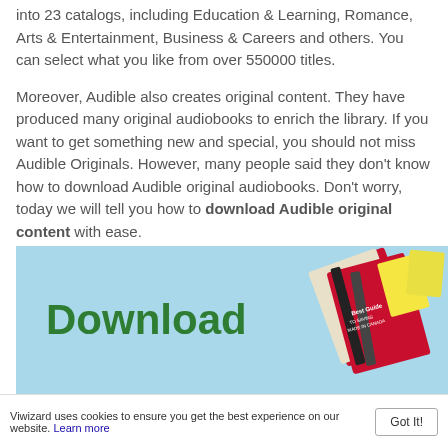into 23 catalogs, including Education & Learning, Romance, Arts & Entertainment, Business & Careers and others. You can select what you like from over 550000 titles.
Moreover, Audible also creates original content. They have produced many original audiobooks to enrich the library. If you want to get something new and special, you should not miss Audible Originals. However, many people said they don't know how to download Audible original audiobooks. Don't worry, today we will tell you how to download Audible original content with ease.
[Figure (screenshot): Banner image with light blue background showing the word 'Download' in large bold green text on the left and book covers on the right side.]
Viwizard uses cookies to ensure you get the best experience on our website. Learn more Got It!